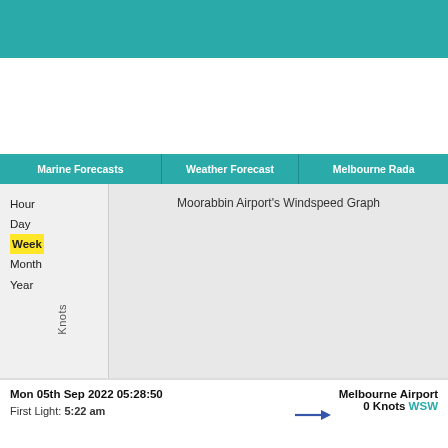[Figure (other): Teal decorative header bar at the top of the page]
Marine Forecasts | Weather Forecast | Melbourne Rada
Moorabbin Airport's Windspeed Graph
Hour
Day
Week
Month
Year
Knots
Mon 05th Sep 2022  05:28:50
First Light: 5:22 am
Melbourne Airport 0 Knots WSW